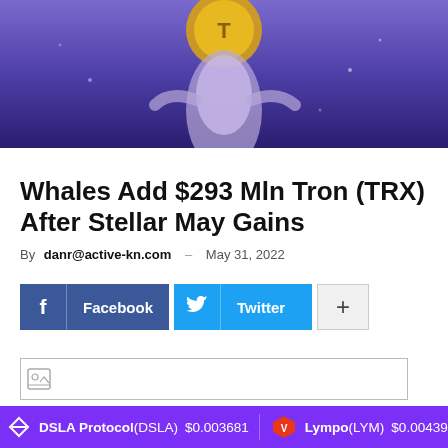[Figure (illustration): Hero image with purple/dark background showing a Tron coin illustration with a stylized figure]
Whales Add $293 Mln Tron (TRX) After Stellar May Gains
By danr@active-kn.com – May 31, 2022
[Figure (infographic): Social sharing buttons: Facebook (blue), Twitter (light blue), and a plus/more button (grey)]
[Figure (other): Advertisement placeholder image (broken image icon)]
DSLA Protocol(DSLA) $0.003681   Lympo(LYM) $0.004392